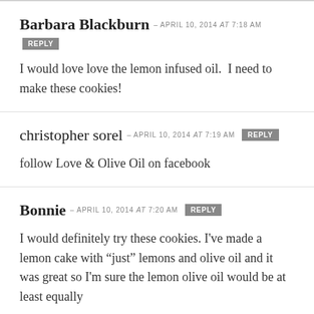Barbara Blackburn — APRIL 10, 2014 at 7:18 AM  REPLY
I would love love the lemon infused oil.  I need to make these cookies!
christopher sorel — APRIL 10, 2014 at 7:19 AM  REPLY
follow Love & Olive Oil on facebook
Bonnie — APRIL 10, 2014 at 7:20 AM  REPLY
I would definitely try these cookies. I've made a lemon cake with “just” lemons and olive oil and it was great so I'm sure the lemon olive oil would be at least equally